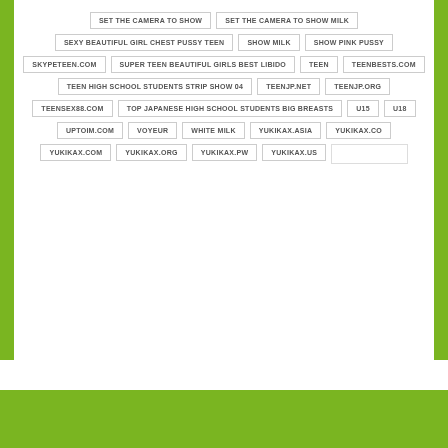SET THE CAMERA TO SHOW
SET THE CAMERA TO SHOW MILK
SEXY BEAUTIFUL GIRL CHEST PUSSY TEEN
SHOW MILK
SHOW PINK PUSSY
SKYPETEEN.COM
SUPER TEEN BEAUTIFUL GIRLS BEST LIBIDO
TEEN
TEENBESTS.COM
TEEN HIGH SCHOOL STUDENTS STRIP SHOW 04
TEENJP.NET
TEENJP.ORG
TEENSEX88.COM
TOP JAPANESE HIGH SCHOOL STUDENTS BIG BREASTS
U15
U18
UPTOIM.COM
VOYEUR
WHITE MILK
YUKIKAX.ASIA
YUKIKAX.CO
YUKIKAX.COM
YUKIKAX.ORG
YUKIKAX.PW
YUKIKAX.US
[Figure (photo): Partial photo visible at bottom of page showing a face]